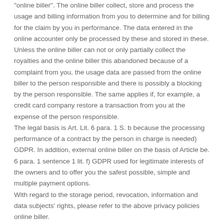"online biller". The online biller collect, store and process the usage and billing information from you to determine and for billing for the claim by you in performance. The data entered in the online accounter only be processed by these and stored in these. Unless the online biller can not or only partially collect the royalties and the online biller this abandoned because of a complaint from you, the usage data are passed from the online biller to the person responsible and there is possibly a blocking by the person responsible. The same applies if, for example, a credit card company restore a transaction from you at the expense of the person responsible. The legal basis is Art. Lit. 6 para. 1 S. b because the processing performance of a contract by the person in charge is needed) GDPR. In addition, external online biller on the basis of Article be. 6 para. 1 sentence 1 lit. f) GDPR used for legitimate interests of the owners and to offer you the safest possible, simple and multiple payment options.
With regard to the storage period, revocation, information and data subjects' rights, please refer to the above privacy policies online biller.
Contact via contact form / e-mail / fax / post
When contacting us via the contact form, fax, mail or e-mail your information will be processed for the purpose of processing the contact request.
The legal basis for the processing of the data is in the presence of consent (pursuant Art. 6 para. 1 sentence 1 lit. a) GDPR, otherwise it follows...